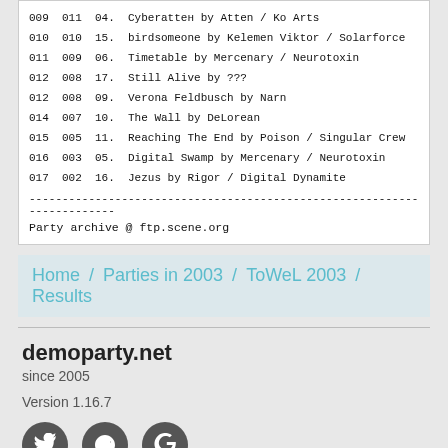| 009 | 011 | 04. | Cyberattен by Atten / Ko Arts |
| 010 | 010 | 15. | birdsomeone by Kelemen Viktor / Solarforce |
| 011 | 009 | 06. | Timetable by Mercenary / Neurotoxin |
| 012 | 008 | 17. | Still Alive by ??? |
| 012 | 008 | 09. | Verona Feldbusch by Narn |
| 014 | 007 | 10. | The Wall by DeLorean |
| 015 | 005 | 11. | Reaching The End by Poison / Singular Crew |
| 016 | 003 | 05. | Digital Swamp by Mercenary / Neurotoxin |
| 017 | 002 | 16. | Jezus by Rigor / Digital Dynamite |
Party archive @ ftp.scene.org
Home / Parties in 2003 / ToWeL 2003 / Results
demoparty.net
since 2005
Version 1.16.7